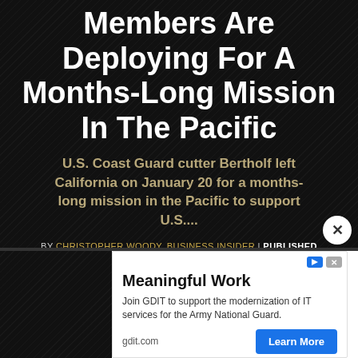Members Are Deploying For A Months-Long Mission In The Pacific
U.S. Coast Guard cutter Bertholf left California on January 20 for a months-long mission in the Pacific to support U.S....
BY CHRISTOPHER WOODY, BUSINESS INSIDER | PUBLISHED
JAN 21, 2019 7:00 PM
[Figure (other): Advertisement: Meaningful Work - Join GDIT to support the modernization of IT services for the Army National Guard. gdit.com, Learn More button]